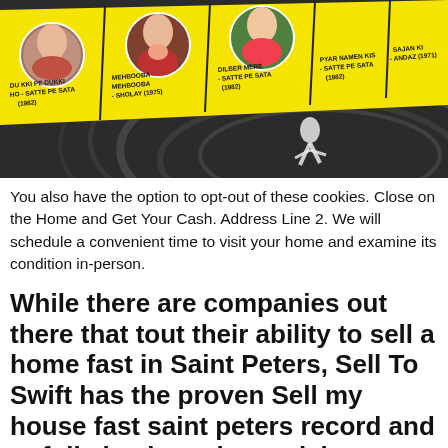[Figure (photo): Yellow diagonal banner with circular portrait photos of Bollywood actresses and film title labels: 'DU KKI PE DUKKI HO – SATTE PE SATA (1982)', 'MEHBOOBA MEHBOOBA – SHOLAY (1975)', 'DILBER MERE – SATTE PE SATA (1982)', 'PYAR NAMEN KIS – SATTE PE SATA (1982)', 'SAJAN KI – ANDAZ (1971)'. Background shows dark swirling pattern.]
You also have the option to opt-out of these cookies. Close on the Home and Get Your Cash. Address Line 2. We will schedule a convenient time to visit your home and examine its condition in-person.
While there are companies out there that tout their ability to sell a home fast in Saint Peters, Sell To Swift has the proven Sell my house fast saint peters record and to fully back up those claims.